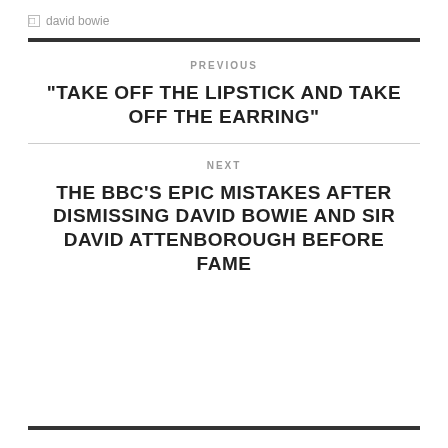david bowie
PREVIOUS
"TAKE OFF THE LIPSTICK AND TAKE OFF THE EARRING"
NEXT
THE BBC'S EPIC MISTAKES AFTER DISMISSING DAVID BOWIE AND SIR DAVID ATTENBOROUGH BEFORE FAME